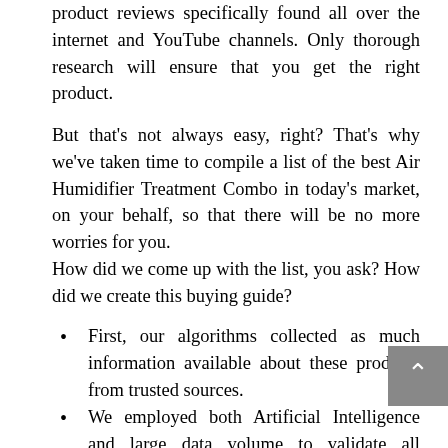product reviews specifically found all over the internet and YouTube channels. Only thorough research will ensure that you get the right product.
But that's not always easy, right? That's why we've taken time to compile a list of the best Air Humidifier Treatment Combo in today's market, on your behalf, so that there will be no more worries for you.
How did we come up with the list, you ask? How did we create this buying guide?
First, our algorithms collected as much information available about these products from trusted sources.
We employed both Artificial Intelligence and large data volume to validate all collected information.
Then our AI ranked them on their quality-to-price ratio using industry standard